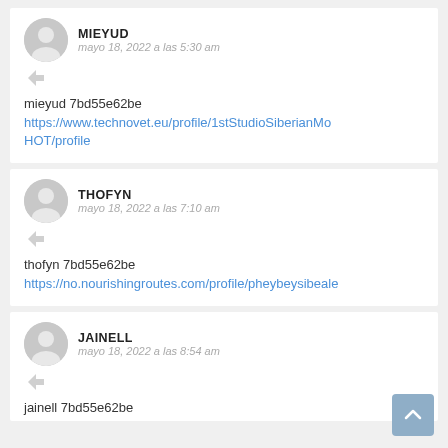MIEYUD
mayo 18, 2022 a las 5:30 am
mieyud 7bd55e62be
https://www.technovet.eu/profile/1stStudioSiberianMoHOT/profile
THOFYN
mayo 18, 2022 a las 7:10 am
thofyn 7bd55e62be
https://no.nourishingroutes.com/profile/pheybeysibeale
JAINELL
mayo 18, 2022 a las 8:54 am
jainell 7bd55e62be